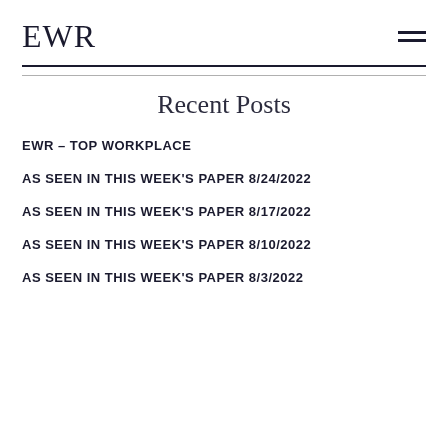EWR
Recent Posts
EWR – TOP WORKPLACE
AS SEEN IN THIS WEEK'S PAPER 8/24/2022
AS SEEN IN THIS WEEK'S PAPER 8/17/2022
AS SEEN IN THIS WEEK'S PAPER 8/10/2022
AS SEEN IN THIS WEEK'S PAPER 8/3/2022